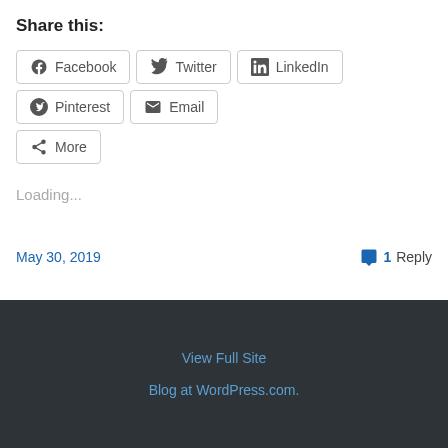Share this:
[Figure (infographic): Social share buttons: Facebook, Twitter, LinkedIn, Pinterest, Email, More]
Loading...
May 30, 2019    1 Reply
View Full Site
Blog at WordPress.com.